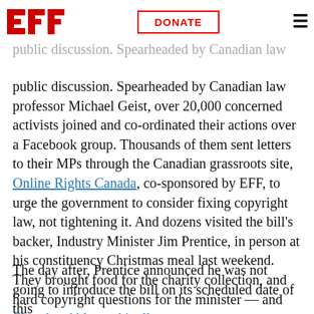EFF | DONATE
with no confirmed text of the bill. Net users in quickly created numerous opportunities public discussion. Spearheaded by Canadian law professor Michael Geist, over 20,000 concerned activists joined and co-ordinated their actions over a Facebook group. Thousands of them sent letters to their MPs through the Canadian grassroots site, Online Rights Canada, co-sponsored by EFF, to urge the government to consider fixing copyright law, not tightening it. And dozens visited the bill's backer, Industry Minister Jim Prentice, in person at his constituency Christmas meal last weekend. They brought food for the charity collection, and hard copyright questions for the minister — and filmed and blogged it all.
The day after, Prentice announced he was not going to introduce the bill on its scheduled date of this